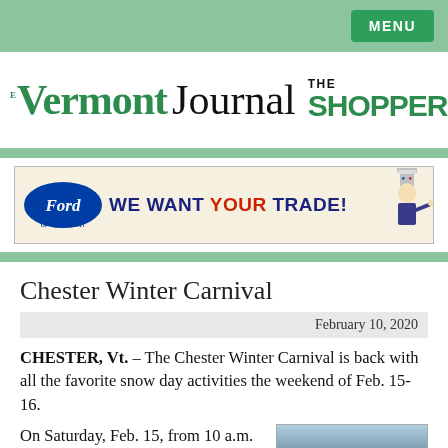MENU
[Figure (logo): The Vermont Journal / The Shopper masthead logo]
[Figure (illustration): Ford of Claremont advertisement banner: WE WANT YOUR TRADE! with Uncle Sam figure pointing]
Chester Winter Carnival
February 10, 2020
CHESTER, Vt. – The Chester Winter Carnival is back with all the favorite snow day activities the weekend of Feb. 15-16.
On Saturday, Feb. 15, from 10 a.m. to 2 p.m., the Chester...
[Figure (photo): Outdoor winter landscape photo]